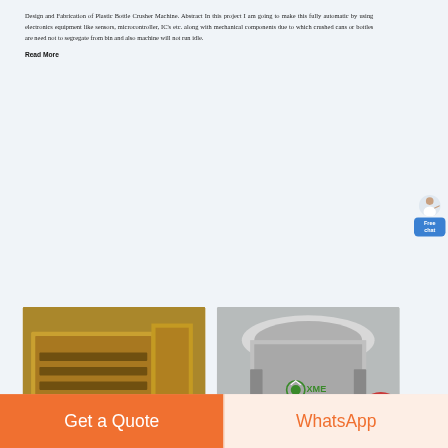Design and Fabrication of Plastic Bottle Crusher Machine. Abstract In this project I am going to make this fully automatic by using electronics equipment like sensors, microcontroller, IC's etc. along with mechanical components due to which crushed cans or bottles are need not to segregate from bin and also machine will not run idle.
Read More
[Figure (photo): Photo of industrial yellow/orange crushing or screening machine with XME logo]
[Figure (photo): Photo of industrial grey cone crusher machine with XME logo]
[Figure (other): Free chat widget with person icon and blue button]